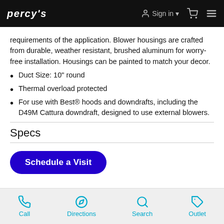PERCY'S | Sign in | Cart | Menu
requirements of the application. Blower housings are crafted from durable, weather resistant, brushed aluminum for worry-free installation. Housings can be painted to match your decor.
Duct Size: 10" round
Thermal overload protected
For use with Best® hoods and downdrafts, including the D49M Cattura downdraft, designed to use external blowers.
Specs
Schedule a Visit